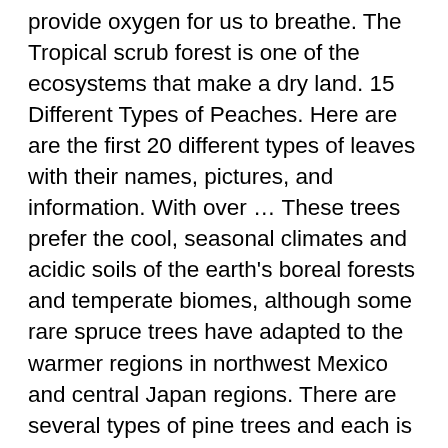provide oxygen for us to breathe. The Tropical scrub forest is one of the ecosystems that make a dry land. 15 Different Types of Peaches. Here are are the first 20 different types of leaves with their names, pictures, and information. With over … These trees prefer the cool, seasonal climates and acidic soils of the earth's boreal forests and temperate biomes, although some rare spruce trees have adapted to the warmer regions in northwest Mexico and central Japan regions. There are several types of pine trees and each is different from one another. Art. Name: Acer negundo. Types of Plants! As we all know, there are many different types of plants and even in our native language, it might be difficult to remember them all. Growing Conditions: Full Sun, Partial Shade. Even types of softwood from coniferous trees are strong and can be used in the construction industry. For many people, the first sure sign that summer is finally on its way is the appearance of fresh peaches at their local market. Nut pines and Pinyon trees grow in west Texas. Both of them should be protected from hard climate conditions. Tree Pictures - Recent Tree